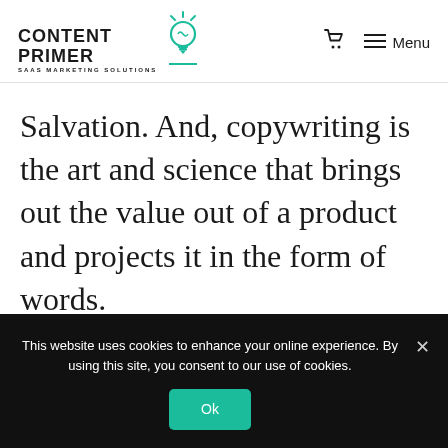[Figure (logo): Content Primer SAAS Marketing Solutions logo with lightbulb icon, cart icon, and Menu navigation]
Salvation. And, copywriting is the art and science that brings out the value out of a product and projects it in the form of words.
This website uses cookies to enhance your online experience. By using this site, you consent to our use of cookies.